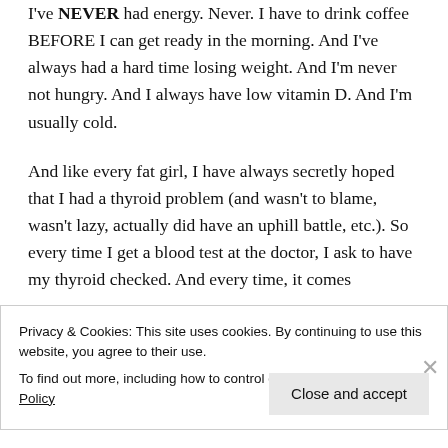I've NEVER had energy. Never. I have to drink coffee BEFORE I can get ready in the morning. And I've always had a hard time losing weight. And I'm never not hungry. And I always have low vitamin D. And I'm usually cold.

And like every fat girl, I have always secretly hoped that I had a thyroid problem (and wasn't to blame, wasn't lazy, actually did have an uphill battle, etc.). So every time I get a blood test at the doctor, I ask to have my thyroid checked. And every time, it comes
Privacy & Cookies: This site uses cookies. By continuing to use this website, you agree to their use.
To find out more, including how to control cookies, see here: Cookie Policy